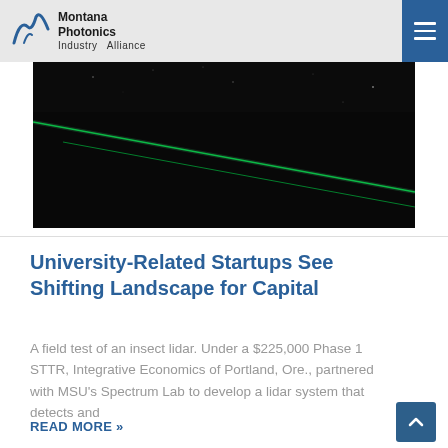Montana Photonics Industry Alliance
[Figure (photo): A field test of an insect lidar showing green laser beams against a dark night sky background.]
University-Related Startups See Shifting Landscape for Capital
A field test of an insect lidar. Under a $225,000 Phase 1 STTR, Integrative Economics of Portland, Ore., partnered with MSU's Spectrum Lab to develop a lidar system that detects and
READ MORE »